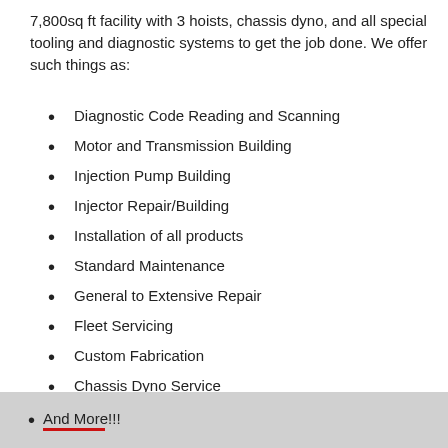7,800sq ft facility with 3 hoists, chassis dyno, and all special tooling and diagnostic systems to get the job done. We offer such things as:
Diagnostic Code Reading and Scanning
Motor and Transmission Building
Injection Pump Building
Injector Repair/Building
Installation of all products
Standard Maintenance
General to Extensive Repair
Fleet Servicing
Custom Fabrication
Chassis Dyno Service
And More!!!